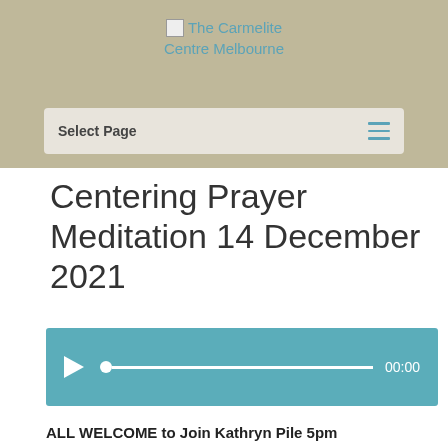The Carmelite Centre Melbourne
[Figure (screenshot): Navigation bar with 'Select Page' label and hamburger menu icon]
Centering Prayer Meditation 14 December 2021
[Figure (other): Audio player with play button, progress bar, and time display showing 00:00, teal background]
ALL WELCOME to Join Kathryn Pile 5pm